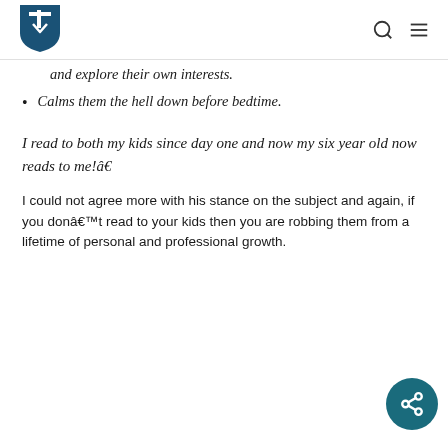Site logo and navigation icons
and explore their own interests.
Calms them the hell down before bedtime.
I read to both my kids since day one and now my six year old now reads to me!â€
I could not agree more with his stance on the subject and again, if you donâ€™t read to your kids then you are robbing them from a lifetime of personal and professional growth.